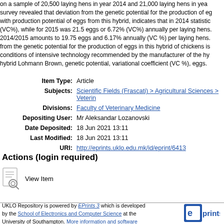on a sample of 20,500 laying hens in year 2014 and 21,000 laying hens in year survey revealed that deviation from the genetic potential for the production of eg with production potential of eggs from this hybrid, indicates that in 2014 statistic (VC%), while for 2015 was 21.5 eggs or 6.72% (VC%) annually per laying hens 2014/2015 amounts to 19.75 eggs and 6.17% annually (VC %) per laying hens. from the genetic potential for the production of eggs in this hybrid of chickens is conditions of intensive technology recommended by the manufacturer of the hy hybrid Lohmann Brown, genetic potential, variational coefficient (VC %), eggs.
Item Type: Article
Subjects: Scientific Fields (Frascati) > Agricultural Sciences > Veterin
Divisions: Faculty of Veterinary Medicine
Depositing User: Mr Aleksandar Lozanovski
Date Deposited: 18 Jun 2021 13:11
Last Modified: 18 Jun 2021 13:11
URI: http://eprints.uklo.edu.mk/id/eprint/6413
Actions (login required)
View Item
UKLO Repository is powered by EPrints 3 which is developed by the School of Electronics and Computer Science at the University of Southampton. More information and software credits.